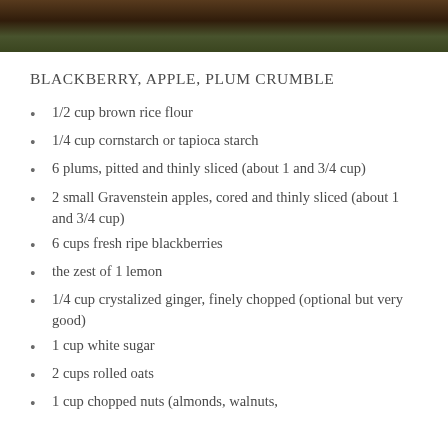[Figure (photo): Dark nature/forest photo strip at top of page]
BLACKBERRY, APPLE, PLUM CRUMBLE
1/2 cup brown rice flour
1/4 cup cornstarch or tapioca starch
6 plums, pitted and thinly sliced (about 1 and 3/4 cup)
2 small Gravenstein apples, cored and thinly sliced (about 1 and 3/4 cup)
6 cups fresh ripe blackberries
the zest of 1 lemon
1/4 cup crystalized ginger, finely chopped (optional but very good)
1 cup white sugar
2 cups rolled oats
1 cup chopped nuts (almonds, walnuts,